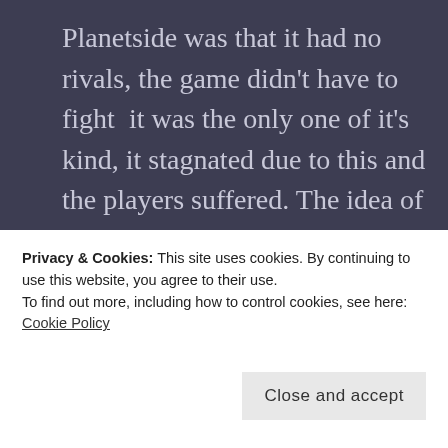Planetside was that it had no rivals, the game didn't have to fight  it was the only one of it's kind, it stagnated due to this and the players suffered. The idea of more SuperHero themed MMOs in the world is a very appealing one to me as it encourages enhancement development of each game and of the whole genre.
Privacy & Cookies: This site uses cookies. By continuing to use this website, you agree to their use.
To find out more, including how to control cookies, see here: Cookie Policy
Close and accept